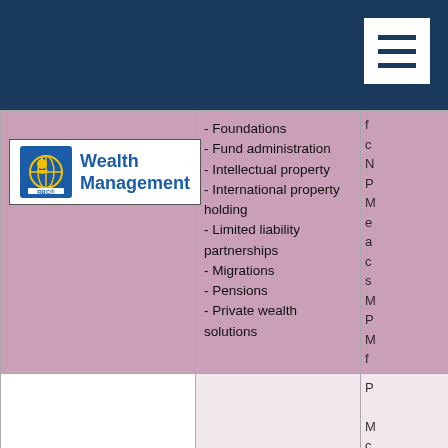[Figure (logo): RBC Wealth Management logo]
- Foundations
- Fund administration
- Intellectual property
- International property holding
- Limited liability partnerships
- Migrations
- Pensions
- Private wealth solutions
- Corporate wealth solutions